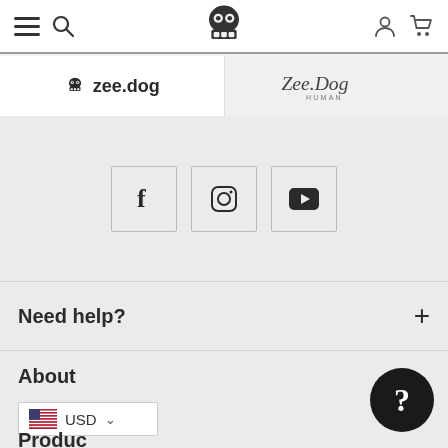zee.dog navigation bar with hamburger menu, search, skull logo, user icon, cart icon
[Figure (screenshot): Two brand tabs: 'zee.dog' (white background, selected) and 'Zee.Dog HUMAN' (gray background, script logo)]
[Figure (infographic): Social media icon buttons: Facebook (f), Instagram, YouTube]
Need help?
About
USD (currency selector with US flag)
Products (partially cut off at bottom)